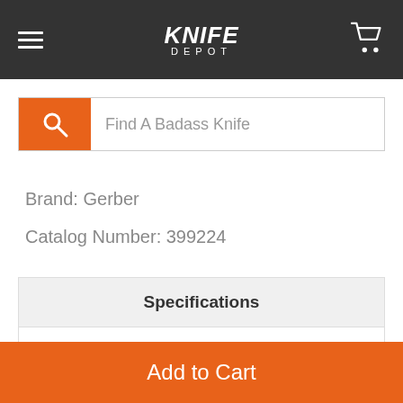KNIFE DEPOT
Find A Badass Knife
Brand: Gerber
Catalog Number: 399224
| Specifications |  |
| --- | --- |
| Blade Color | Silver/Gray |
| Blade Edge | Partially Serrated/ComboEdge |
| Blade Length | 2.9 |
| Closed Length | 4.45 |
Add to Cart